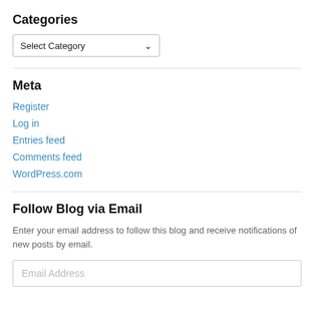Categories
[Figure (screenshot): A dropdown select box labeled 'Select Category' with a chevron/arrow on the right side]
Meta
Register
Log in
Entries feed
Comments feed
WordPress.com
Follow Blog via Email
Enter your email address to follow this blog and receive notifications of new posts by email.
[Figure (screenshot): An email address input field with placeholder text 'Email Address']